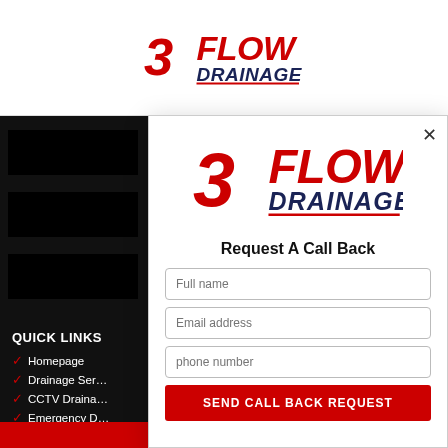[Figure (logo): 3 Flow Drainage logo in top header bar, red number 3 with FLOW in red and DRAINAGE in navy]
[Figure (logo): 3 Flow Drainage logo inside modal popup, large red 3 with FLOW in red and DRAINAGE in navy with red underline]
Request A Call Back
Full name
Email address
phone number
SEND CALL BACK REQUEST
QUICK LINKS
Homepage
Drainage Services
CCTV Drainage
Emergency Drainage
Privacy & Cookies